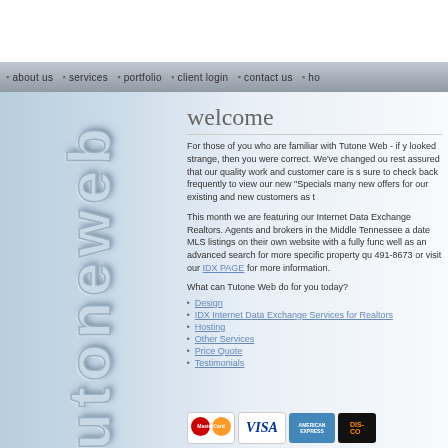Navigation bar: about us | services | portfolio | client login | contact us | ho...
[Figure (logo): Tutone Web vertical logo text in chrome/silver 3D style letters]
welcome
For those of you who are familiar with Tutone Web - if y... looked strange, then you were correct. We've changed ou... rest assured that our quality work and customer care is s... sure to check back frequently to view our new "Specials... many new offers for our existing and new customers as t...
This month we are featuring our Internet Data Exchange... Realtors. Agents and brokers in the Middle Tennessee ar... date MLS listings on their own website with a fully func... well as an advanced search for more specific property qu... 491-8673 or visit our IDX PAGE for more information.
What can Tutone Web do for you today?
Design
IDX Internet Data Exchange Services for Realtors
Hosting
Other Services
Price Quote
Testimonials
[Figure (logo): MasterCard, VISA, American Express, Discover credit card logos]